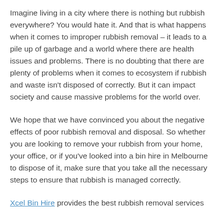Imagine living in a city where there is nothing but rubbish everywhere? You would hate it. And that is what happens when it comes to improper rubbish removal – it leads to a pile up of garbage and a world where there are health issues and problems. There is no doubting that there are plenty of problems when it comes to ecosystem if rubbish and waste isn't disposed of correctly. But it can impact society and cause massive problems for the world over.
We hope that we have convinced you about the negative effects of poor rubbish removal and disposal. So whether you are looking to remove your rubbish from your home, your office, or if you've looked into a bin hire in Melbourne to dispose of it, make sure that you take all the necessary steps to ensure that rubbish is managed correctly.
Xcel Bin Hire provides the best rubbish removal services...